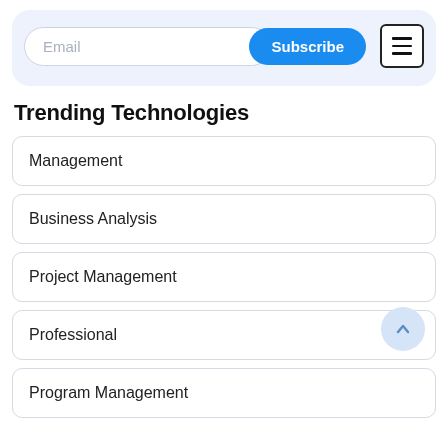[Figure (screenshot): Email subscription bar with text input labeled 'Email', a blue 'Subscribe' button, and a hamburger menu icon button]
Trending Technologies
Management
Business Analysis
Project Management
Professional
Program Management